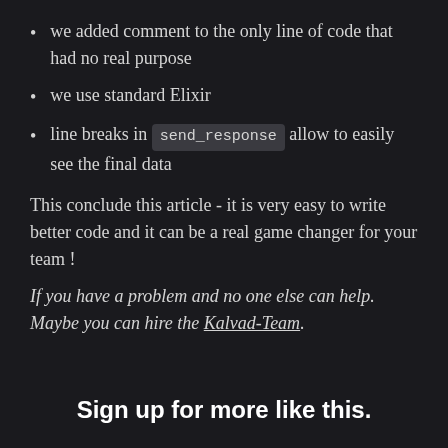we added comment to the only line of code that had no real purpose
we use standard Elixir
line breaks in send_response allow to easily see the final data
This conclude this article - it is very easy to write better code and it can be a real game changer for your team !
If you have a problem and no one else can help. Maybe you can hire the Kalvad-Team.
Sign up for more like this.